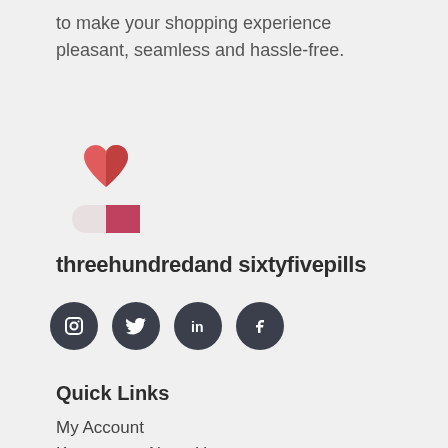to make your shopping experience pleasant, seamless and hassle-free.
[Figure (logo): Heart and pill capsule logo icon for threehundredand sixtyfivepills brand]
threehundredand sixtyfivepills
[Figure (other): Social media icons: Instagram, Twitter, LinkedIn, Facebook — dark circular buttons]
Quick Links
My Account
Know more About Us
Visit Store